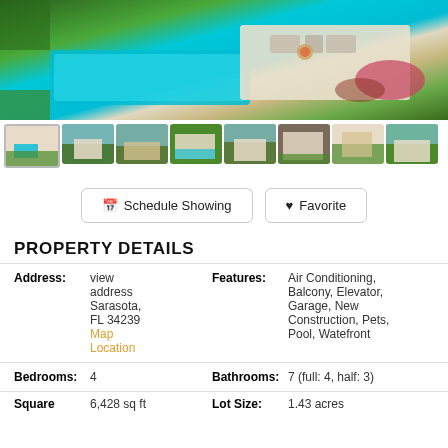[Figure (photo): Aerial 3D rendering of a luxury property with a swimming pool, outdoor seating area with fire pit, landscaped lawn, and terrace]
[Figure (photo): Row of 8 thumbnail images showing various views of the luxury property]
Schedule Showing
Favorite
PROPERTY DETAILS
| Address: | view address Sarasota, FL 34239 Map Location | Features: | Air Conditioning, Balcony, Elevator, Garage, New Construction, Pets, Pool, Watefront |
| Bedrooms: | 4 | Bathrooms: | 7 (full: 4, half: 3) |
| Square | 6,428 sq ft | Lot Size: | 1.43 acres |